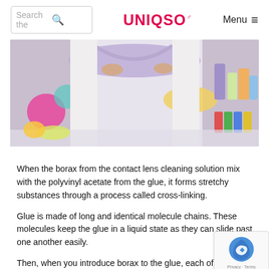Search the... | UNIQSO | Menu
[Figure (photo): Person in white lab coat holding stretchy colorful slime/putty material, with colorful science lab equipment and bottles in the background.]
When the borax from the contact lens cleaning solution mix with the polyvinyl acetate from the glue, it forms stretchy substances through a process called cross-linking.
Glue is made of long and identical molecule chains. These molecules keep the glue in a liquid state as they can slide past one another easily.
Then, when you introduce borax to the glue, each of the